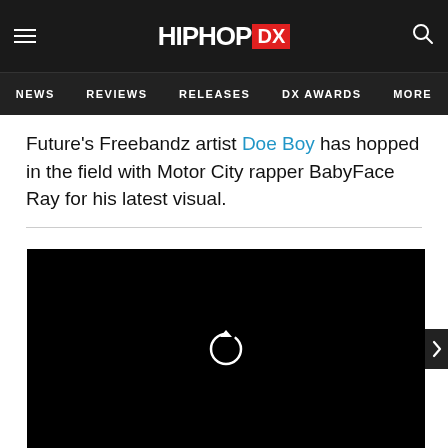HIPHOP DX — Navigation: NEWS, REVIEWS, RELEASES, DX AWARDS, MORE
Future's Freebandz artist Doe Boy has hopped in the field with Motor City rapper BabyFace Ray for his latest visual.
[Figure (screenshot): Black video player with a circular replay/refresh icon in the center and an arrow button on the right side]